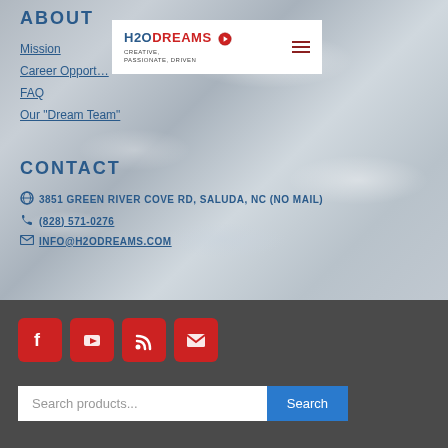ABOUT
[Figure (logo): H2ODREAMS logo with tagline CREATIVE, PASSIONATE, DRIVEN and hamburger menu icon]
Mission
Career Opportunities
FAQ
Our "Dream Team"
CONTACT
3851 GREEN RIVER COVE RD, SALUDA, NC (NO MAIL)
(828) 571-0276
INFO@H2ODREAMS.COM
[Figure (infographic): Social media icons: Facebook, YouTube, RSS, Email in red rounded squares]
Search products...